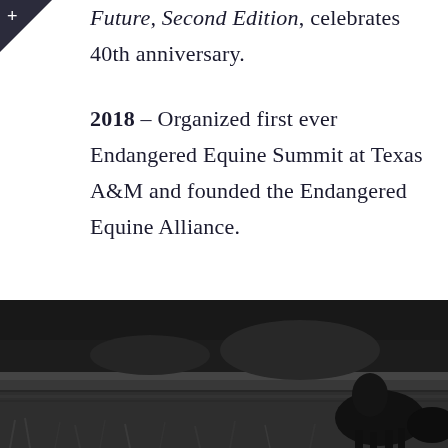Future, Second Edition, celebrates 40th anniversary.
2018 – Organized first ever Endangered Equine Summit at Texas A&M and founded the Endangered Equine Alliance.
[Figure (photo): Black and white photograph showing a horse or foal in a grassy field, viewed from behind/side, with another animal partially visible.]